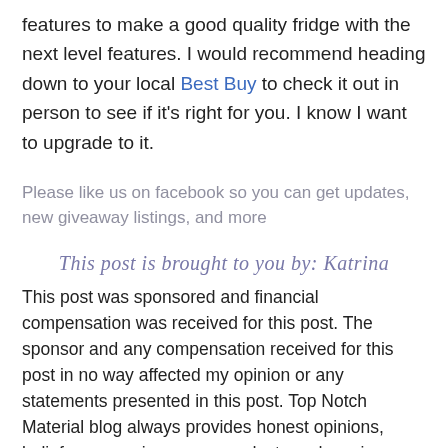features to make a good quality fridge with the next level features. I would recommend heading down to your local Best Buy to check it out in person to see if it's right for you. I know I want to upgrade to it.
Please like us on facebook so you can get updates, new giveaway listings, and more
[Figure (illustration): Cursive script signature text reading: This post is brought to you by: Katrina]
This post was sponsored and financial compensation was received for this post. The sponsor and any compensation received for this post in no way affected my opinion or any statements presented in this post. Top Notch Material blog always provides honest opinions, beliefs or experiences on products and services reviewed. If you